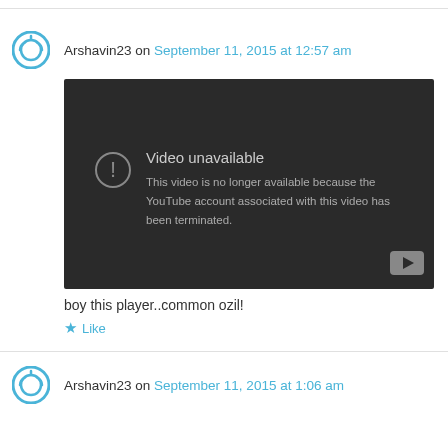Arshavin23 on September 11, 2015 at 12:57 am
[Figure (screenshot): YouTube embedded video player showing 'Video unavailable' error message. Text reads: 'Video unavailable. This video is no longer available because the YouTube account associated with this video has been terminated.' A YouTube logo button is visible in the bottom right corner.]
boy this player..common ozil!
Like
Arshavin23 on September 11, 2015 at 1:06 am